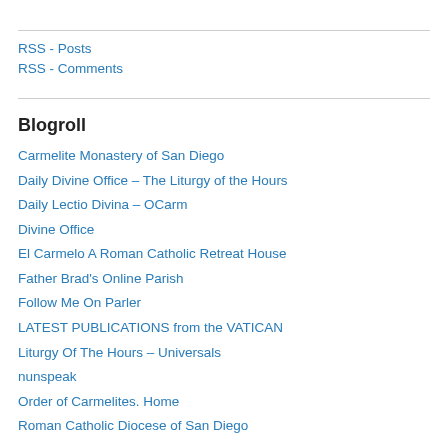RSS - Posts
RSS - Comments
Blogroll
Carmelite Monastery of San Diego
Daily Divine Office – The Liturgy of the Hours
Daily Lectio Divina – OCarm
Divine Office
El Carmelo A Roman Catholic Retreat House
Father Brad's Online Parish
Follow Me On Parler
LATEST PUBLICATIONS from the VATICAN
Liturgy Of The Hours – Universals
nunspeak
Order of Carmelites. Home
Roman Catholic Diocese of San Diego